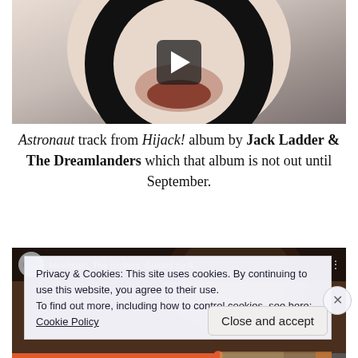[Figure (screenshot): Video thumbnail showing a close-up of a face through a circular black ring/lens, with a play button overlay]
Astronaut track from Hijack! album by Jack Ladder & The Dreamlanders which that album is not out until September.
[Figure (screenshot): Second video thumbnail showing a music player interface with album art and a progress bar]
Privacy & Cookies: This site uses cookies. By continuing to use this website, you agree to their use.
To find out more, including how to control cookies, see here:
Cookie Policy
Close and accept